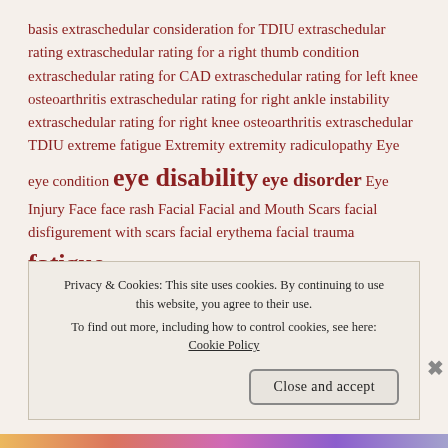basis extraschedular consideration for TDIU extraschedular rating extraschedular rating for a right thumb condition extraschedular rating for CAD extraschedular rating for left knee osteoarthritis extraschedular rating for right ankle instability extraschedular rating for right knee osteoarthritis extraschedular TDIU extreme fatigue Extremity extremity radiculopathy Eye eye condition eye disability eye disorder Eye Injury Face face rash Facial Facial and Mouth Scars facial disfigurement with scars facial erythema facial trauma fatigue fatigue disorder fatty liver fecal incontinence/urgency feet femoral nerve in the right lower extremity fibroids fibromyalgia fibrosis of the liver fibula
Privacy & Cookies: This site uses cookies. By continuing to use this website, you agree to their use. To find out more, including how to control cookies, see here: Cookie Policy
Close and accept